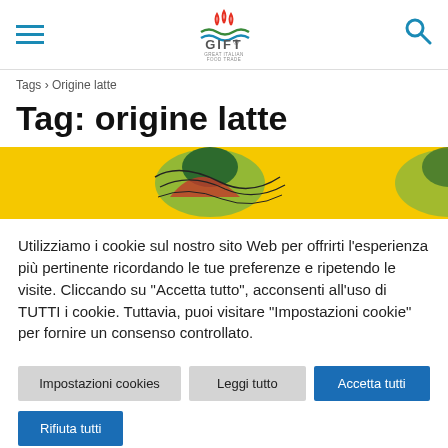GIFT® Great Italian Food Trade — navigation header with hamburger menu and search icon
Tags › Origine latte
Tag: origine latte
[Figure (photo): Colorful banner image with illustrated figures on yellow background]
Utilizziamo i cookie sul nostro sito Web per offrirti l'esperienza più pertinente ricordando le tue preferenze e ripetendo le visite. Cliccando su "Accetta tutto", acconsenti all'uso di TUTTI i cookie. Tuttavia, puoi visitare "Impostazioni cookie" per fornire un consenso controllato.
Impostazioni cookies | Leggi tutto | Accetta tutti | Rifiuta tutti | Translate »